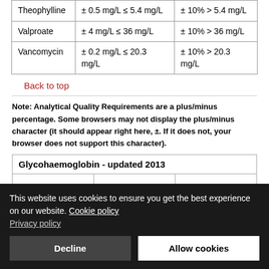| Analyte | Allowable Error (absolute) | Allowable Error (relative) |
| --- | --- | --- |
| Theophylline | ± 0.5 mg/L ≤ 5.4 mg/L | ± 10% > 5.4 mg/L |
| Valproate | ± 4 mg/L ≤ 36 mg/L | ± 10% > 36 mg/L |
| Vancomycin | ± 0.2 mg/L ≤ 20.3 mg/L | ± 10% > 20.3 mg/L |
Back to top
Note: Analytical Quality Requirements are a plus/minus percentage. Some browsers may not display the plus/minus character (it should appear right here, ±. If it does not, your browser does not support this character).
| Glycohaemoglobin - updated 2013 |
| --- |